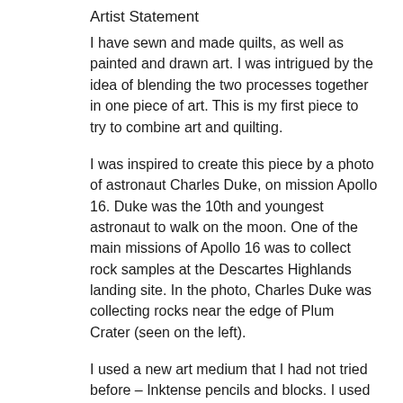Artist Statement
I have sewn and made quilts, as well as painted and drawn art. I was intrigued by the idea of blending the two processes together in one piece of art. This is my first piece to try to combine art and quilting.
I was inspired to create this piece by a photo of astronaut Charles Duke, on mission Apollo 16. Duke was the 10th and youngest astronaut to walk on the moon. One of the main missions of Apollo 16 was to collect rock samples at the Descartes Highlands landing site. In the photo, Charles Duke was collecting rocks near the edge of Plum Crater (seen on the left).
I used a new art medium that I had not tried before – Inktense pencils and blocks. I used the blocks to darken the surface of the moon, and also to help make the crater.